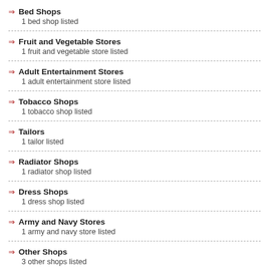Bed Shops
1 bed shop listed
Fruit and Vegetable Stores
1 fruit and vegetable store listed
Adult Entertainment Stores
1 adult entertainment store listed
Tobacco Shops
1 tobacco shop listed
Tailors
1 tailor listed
Radiator Shops
1 radiator shop listed
Dress Shops
1 dress shop listed
Army and Navy Stores
1 army and navy store listed
Other Shops
3 other shops listed
Supermarkets
Supermarkets in Northwich